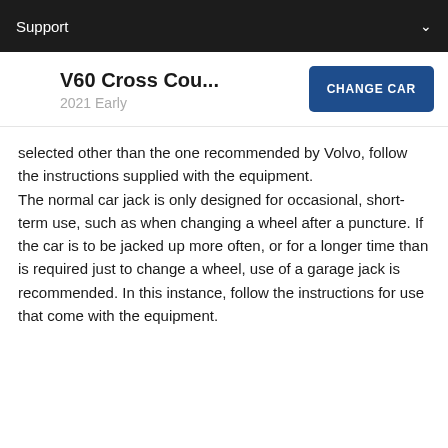Support
V60 Cross Cou...
2021 Early
CHANGE CAR
selected other than the one recommended by Volvo, follow the instructions supplied with the equipment.
The normal car jack is only designed for occasional, short-term use, such as when changing a wheel after a puncture. If the car is to be jacked up more often, or for a longer time than is required just to change a wheel, use of a garage jack is recommended. In this instance, follow the instructions for use that come with the equipment.